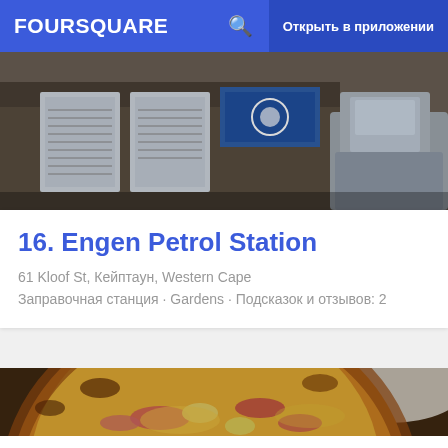FOURSQUARE  Открыть в приложении
[Figure (photo): Exterior photo of Engen Petrol Station showing storefront with signage, menus posted on wall, and a vehicle parked outside]
16. Engen Petrol Station
61 Kloof St, Кейптаун, Western Cape
Заправочная станция · Gardens · Подсказок и отзывов: 2
[Figure (photo): Close-up photo of a pizza with ham/bacon and cheese toppings on a restaurant table, with a white plate visible in the background]
17. (partially visible title)